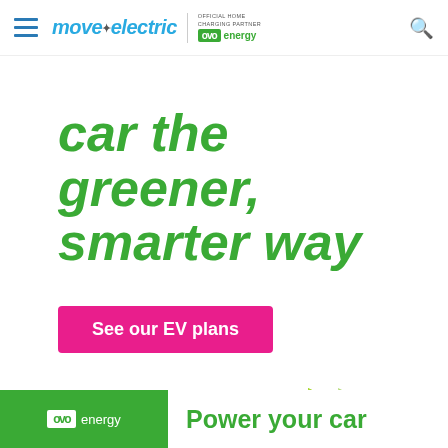move electric | OFFICIAL HOME CHARGING PARTNER ovo energy
car the greener, smarter way
See our EV plans
[Figure (illustration): Green triangular arrow shape pointing right]
ovo energy  Power your car